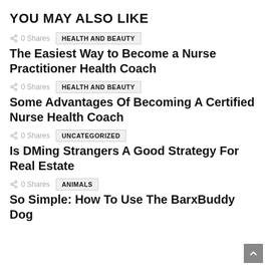YOU MAY ALSO LIKE
0 Shares   HEALTH AND BEAUTY
The Easiest Way to Become a Nurse Practitioner Health Coach
0 Shares   HEALTH AND BEAUTY
Some Advantages Of Becoming A Certified Nurse Health Coach
0 Shares   UNCATEGORIZED
Is DMing Strangers A Good Strategy For Real Estate
0 Shares   ANIMALS
So Simple: How To Use The BarxBuddy Dog